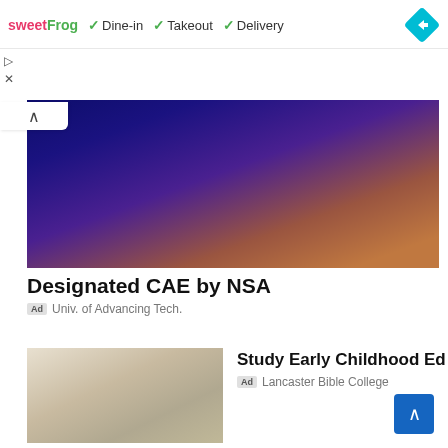[Figure (screenshot): Ad bar showing sweetFrog logo with Dine-in, Takeout, Delivery checkmarks and blue navigation diamond]
[Figure (photo): People working at computers in a dark blue-lit room]
Designated CAE by NSA
Ad Univ. of Advancing Tech.
[Figure (photo): Smiling young man in classroom/cafe setting]
Study Early Childhood Ed
Ad Lancaster Bible College